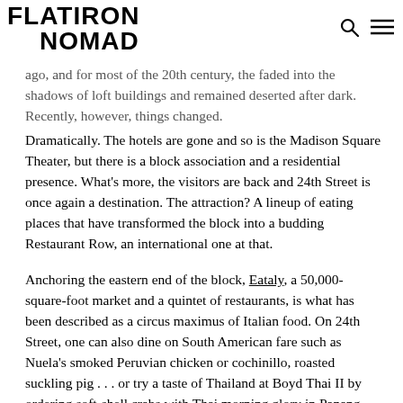FLATIRON NOMAD
ago, and for most of the 20th century, the faded into the shadows of loft buildings and remained deserted after dark. Recently, however, things changed.
Dramatically. The hotels are gone and so is the Madison Square Theater, but there is a block association and a residential presence. What’s more, the visitors are back and 24th Street is once again a destination. The attraction? A lineup of eating places that have transformed the block into a budding Restaurant Row, an international one at that.
Anchoring the eastern end of the block, Eataly, a 50,000-square-foot market and a quintet of restaurants, is what has been described as a circus maximus of Italian food. On 24th Street, one can also dine on South American fare such as Nuela’s smoked Peruvian chicken or cochinillo, roasted suckling pig . . . or try a taste of Thailand at Boyd Thai II by ordering soft-shell crabs with Thai morning glory in Panang curry sauce, served with coconut rice . . . or satisfy an urge for Japanese food with sushi and sashimi, also at Boyd Thai II . . . or visit San Rocco, where the furniture, fixtures and cutlery are imported from Italy and where the menu offers such mouthfuls as Scialatielli al frutti